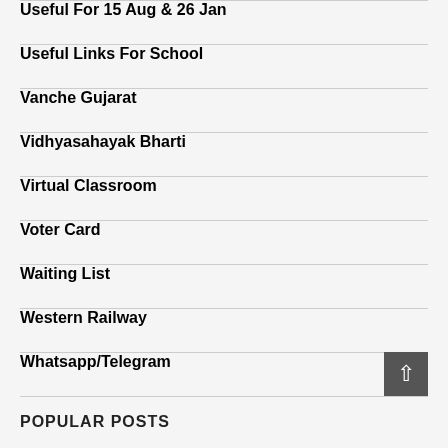Useful For 15 Aug & 26 Jan
Useful Links For School
Vanche Gujarat
Vidhyasahayak Bharti
Virtual Classroom
Voter Card
Waiting List
Western Railway
Whatsapp/Telegram
POPULAR POSTS